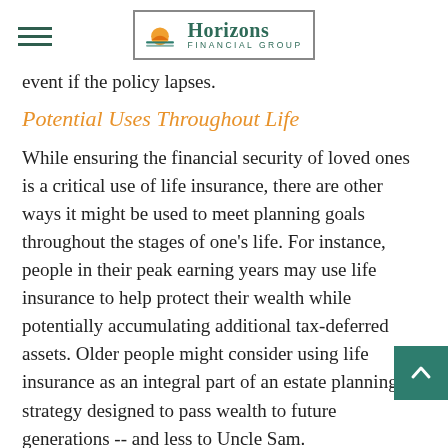Horizons Financial Group
event if the policy lapses.
Potential Uses Throughout Life
While ensuring the financial security of loved ones is a critical use of life insurance, there are other ways it might be used to meet planning goals throughout the stages of one's life. For instance, people in their peak earning years may use life insurance to help protect their wealth while potentially accumulating additional tax-deferred assets. Older people might consider using life insurance as an integral part of an estate planning strategy designed to pass wealth to future generations -- and less to Uncle Sam.
Determining the right type and amount of life